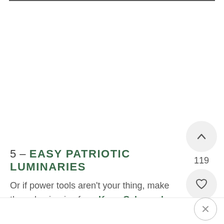5 – EASY PATRIOTIC LUMINARIES
Or if power tools aren't your thing, make these luminaries from Keep Calm and Decorate.  Just add Mod Podge!